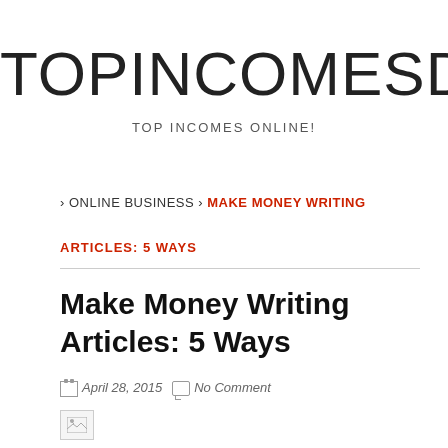TOPINCOMESDATABA
TOP INCOMES ONLINE!
› ONLINE BUSINESS › MAKE MONEY WRITING
ARTICLES: 5 WAYS
Make Money Writing Articles: 5 Ways
April 28, 2015   No Comment
[Figure (photo): Broken/missing image placeholder]